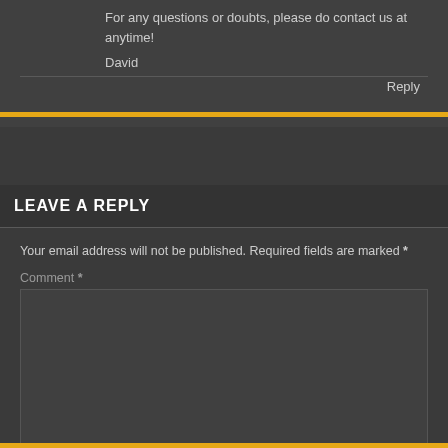For any questions or doubts, please do contact us at anytime!
David
Reply
LEAVE A REPLY
Your email address will not be published. Required fields are marked *
Comment *
Name *